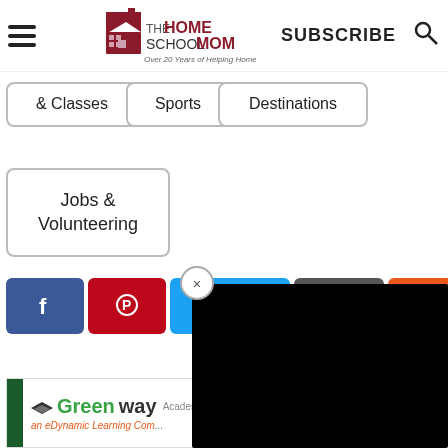[Figure (logo): TheHomeschoolMom logo with house icon and tagline 'Over 20 Years of Helping Homeschoolers!']
SUBSCRIBE
[Figure (other): Search magnifying glass icon]
& Classes
Sports
Destinations
Jobs & Volunteering
[Figure (other): Social share buttons: Facebook, Pinterest, Twitter/blue, Email/grey, Orange share button]
[Figure (other): Black video overlay popup with close (x) button]
[Figure (logo): Greenway Academy - an eDynamic Learning Company advertisement banner]
Motivate...